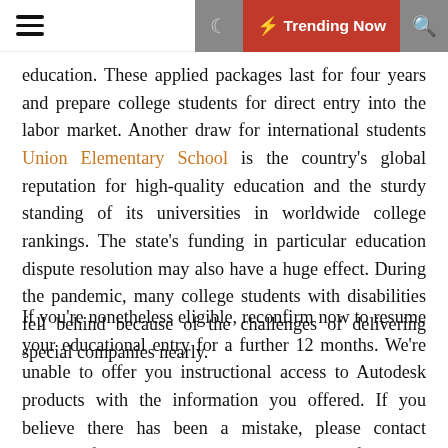☰  🌙  ⚡ Trending Now  🔍
education. These applied packages last for four years and prepare college students for direct entry into the labor market. Another draw for international students Union Elementary School is the country's global reputation for high-quality education and the sturdy standing of its universities in worldwide college rankings. The state's funding in particular education dispute resolution may also have a huge effect. During the pandemic, many college students with disabilities fell behind because of the challenges of delivering special companies nearly.
If you're nonetheless eligible, reconfirm now to resume your educational entry for a further 12 months. We're unable to offer you instructional access to Autodesk products with the information you offered. If you believe there has been a mistake, please contact SheerID for assistance. We still need to confirm your eligibility for academic entry to Autodesk merchandise. Explore simple, safe solutions on your small faculty or school with Cisco